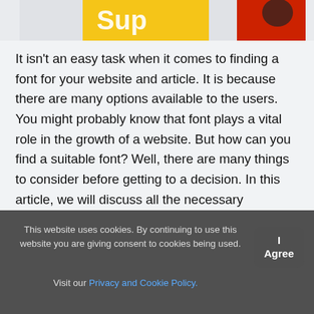3 minutes Read
[Figure (photo): Partial view of a colorful magazine or webpage header image with yellow and red elements]
It isn't an easy task when it comes to finding a font for your website and article. It is because there are many options available to the users. You might probably know that font plays a vital role in the growth of a website. But how can you find a suitable font? Well, there are many things to consider before getting to a decision. In this article, we will discuss all the necessary information regarding the same. For finding a suitable text, you should understand some things to analyze your requirements for it. Then, you can choose the right one for you. Read along as we discuss some essential tips to choose an excellent font. But first, we detail.
This website uses cookies. By continuing to use this website you are giving consent to cookies being used. Visit our Privacy and Cookie Policy.